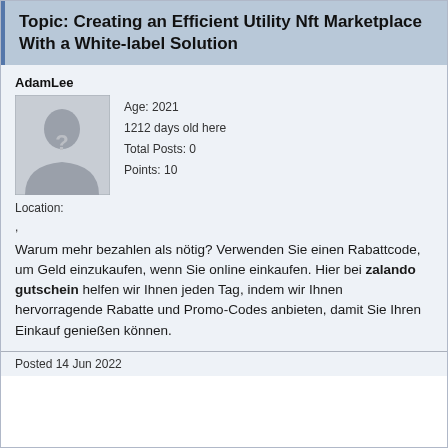Topic: Creating an Efficient Utility Nft Marketplace With a White-label Solution
AdamLee
[Figure (illustration): Default user avatar placeholder image showing a silhouette of a person with a question mark on a grey background]
Age: 2021
1212 days old here
Total Posts: 0
Points: 10
Location:
,
Warum mehr bezahlen als nötig? Verwenden Sie einen Rabattcode, um Geld einzukaufen, wenn Sie online einkaufen. Hier bei zalando gutschein helfen wir Ihnen jeden Tag, indem wir Ihnen hervorragende Rabatte und Promo-Codes anbieten, damit Sie Ihren Einkauf genießen können.
Posted 14 Jun 2022